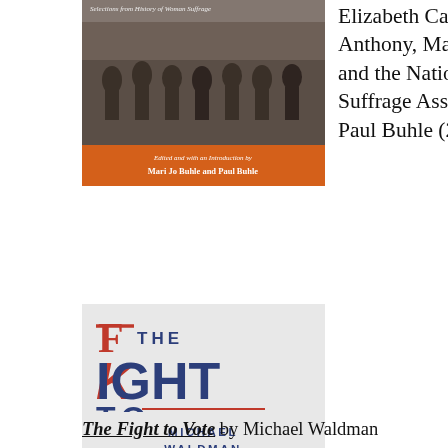[Figure (photo): Book cover of a History of Woman Suffrage selection, with a black and white photo of marching women and an orange banner at the bottom reading 'Mari Jo Buhle and Paul Buhle']
Elizabeth Cady Stanton, Susan B. Anthony, Matilda Joslyn Gage, and the National American Woman Suffrage Association. Edited by Paul Buhle (2005)
[Figure (photo): Book cover of 'The Fight to Vote' by Michael Waldman, light gray background with stylized title text in blue and red, author name below]
The Fight to Vote by Michael Waldman